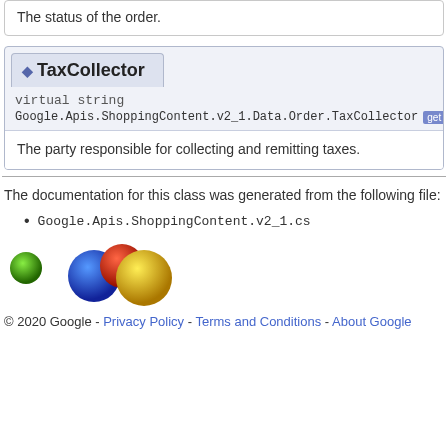The status of the order.
TaxCollector
virtual string Google.Apis.ShoppingContent.v2_1.Data.Order.TaxCollector [get] [se…]
The party responsible for collecting and remitting taxes.
The documentation for this class was generated from the following file:
Google.Apis.ShoppingContent.v2_1.cs
[Figure (illustration): Google logo composed of colored spheres: small green sphere on the left, then overlapping blue, red, and yellow larger spheres]
© 2020 Google - Privacy Policy - Terms and Conditions - About Google